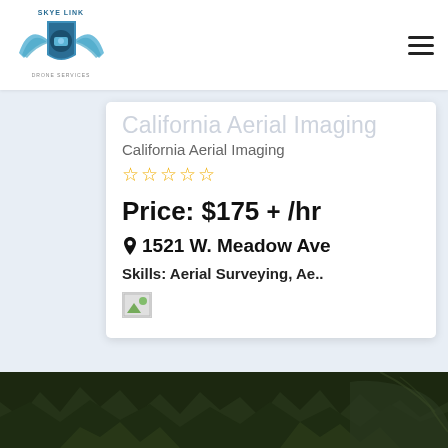[Figure (logo): Skye Link drone services logo with wings and shield emblem]
California Aerial Imaging
California Aerial Imaging
☆☆☆☆☆ (5 empty stars rating)
Price: $175 + /hr
1521 W. Meadow Ave
Skills: Aerial Surveying, Ae..
[Figure (photo): Broken image placeholder with green triangle icon]
[Figure (photo): Dark aerial photo of forest/trees at bottom of page]